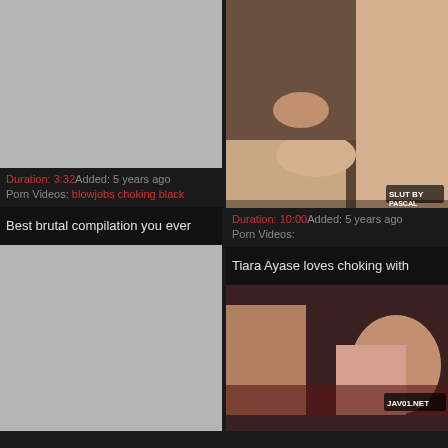[Figure (screenshot): Gray placeholder thumbnail for first video]
Duration: 3:32Added: 5 years ago
Porn Videos: blowjobs choking black
[Figure (photo): Video thumbnail showing adult content]
Duration: 10:00Added: 5 years ago
Porn Videos:
Best brutal compilation you ever
Tiara Ayase loves choking with
[Figure (screenshot): Gray placeholder thumbnail for second video]
[Figure (photo): Video thumbnail showing adult content]